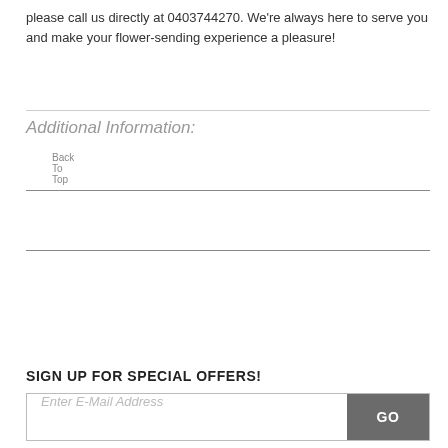please call us directly at 0403744270. We're always here to serve you and make your flower-sending experience a pleasure!
Back To Top
Additional Information:
SIGN UP FOR SPECIAL OFFERS!
Enter E-Mail Address  GO